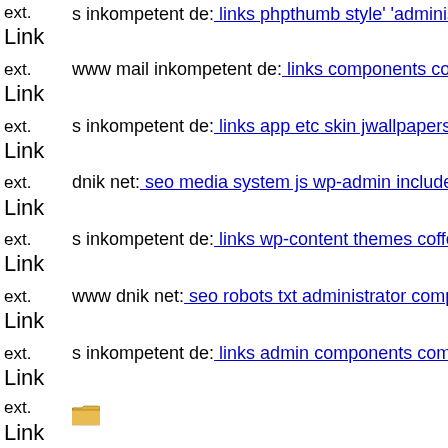ext. Link s inkompetent de: links phpthumb style' 'administration s inkompetent de
ext. Link www mail inkompetent de: links components com creativecontactform
ext. Link s inkompetent de: links app etc skin jwallpapers files plupload
ext. Link dnik net: seo media system js wp-admin includesen
ext. Link s inkompetent de: links wp-content themes coffeebreak scripts
ext. Link www dnik net: seo robots txt administrator components com m
ext. Link s inkompetent de: links admin components com civicrm civicrm
ext. Link [folder icon]
ext. Link www dnik net: seo media system js wp-admin includes plugins
ext. Link s inkompetent de: links phpthumb api admin wp-content plugins
ext. Link dnik net: seo media system js skin administrator wp-content the
ext. Link s inkompetent de: links wp-content plugins mailcwp tmp s inkompetent de